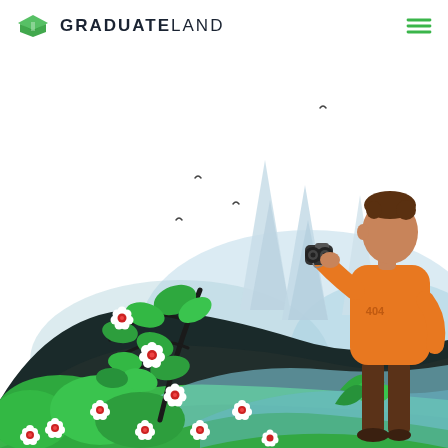GRADUATELAND
[Figure (illustration): 404 error page illustration: a man in an orange hoodie with '404' printed on it, holding binoculars, standing on green grass with white flowers, bushes, and pine trees in a scenic outdoor landscape with birds in the sky. GraduateLand branding at top left.]